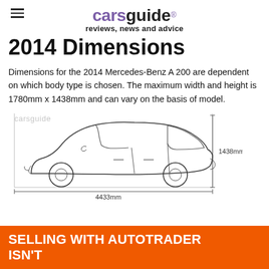carsguide reviews, news and advice
2014 Dimensions
Dimensions for the 2014 Mercedes-Benz A 200 are dependent on which body type is chosen. The maximum width and height is 1780mm x 1438mm and can vary on the basis of model.
[Figure (illustration): Side profile line drawing of a Mercedes-Benz A 200 hatchback with dimension annotations: 4433mm length and 1438mm height, with a carsguide watermark.]
SELLING WITH AUTOTRADER ISN'T